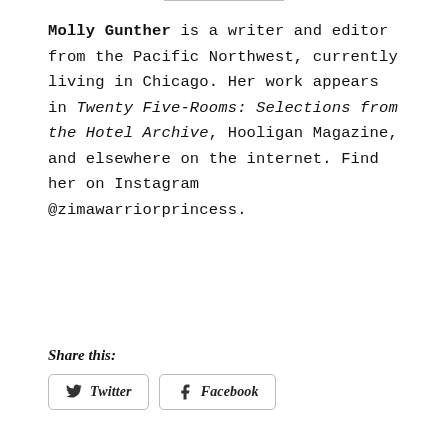Molly Gunther is a writer and editor from the Pacific Northwest, currently living in Chicago. Her work appears in Twenty Five-Rooms: Selections from the Hotel Archive, Hooligan Magazine, and elsewhere on the internet. Find her on Instagram @zimawarriorprincess.
Share this:
[Figure (other): Twitter and Facebook share buttons]